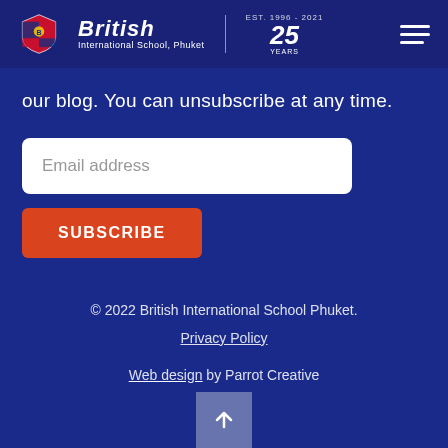[Figure (logo): British International School Phuket logo with shield crest, school name in italic bold, red wave underline, vertical divider, and 25 years badge]
our blog. You can unsubscribe at any time.
[Figure (screenshot): Email address input field - white rounded rectangle with placeholder text 'Email address']
SUBSCRIBE
© 2022 British International School Phuket.
Privacy Policy
Web design by Parrot Creative
[Figure (other): Back to top arrow button - upward arrow in a semi-transparent box at the bottom center]